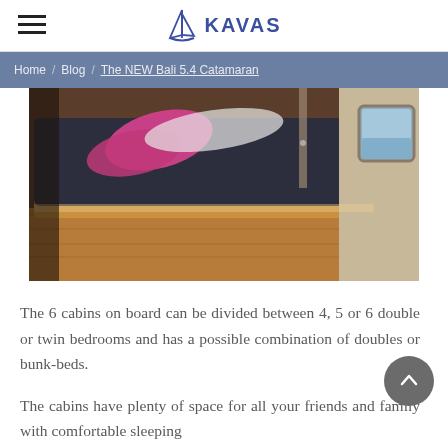KAVAS
Home / Blog / The NEW Bali 5.4 Catamaran
[Figure (photo): Interior cabin photo of a catamaran showing a double bed with dark navy bedspread and pink/magenta pillows, warm wood flooring, and a porthole window on the right side.]
The 6 cabins on board can be divided between 4, 5 or 6 double or twin bedrooms and has a possible combination of doubles or bunk-beds.
The cabins have plenty of space for all your friends and family with comfortable sleeping